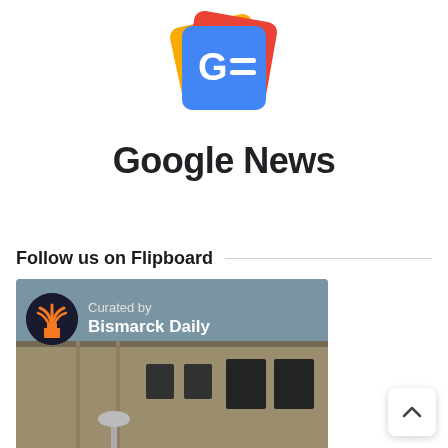[Figure (logo): Google News app icon: blue square with white G and two white horizontal lines, backed by yellow and red card shapes behind it]
Google News
Follow us on Flipboard
[Figure (photo): Flipboard card showing a photo of a brick building exterior with a street lamp. Overlaid text reads 'Curated by Bismarck Daily' with an orange circular logo for Bismarck Daily.]